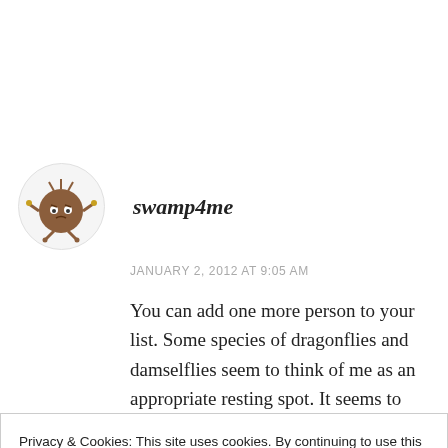[Figure (illustration): Cartoon avatar of a round brown creature with arms and legs, on a light grey circular background]
swamp4me
JANUARY 2, 2012 AT 9:05 AM
You can add one more person to your list. Some species of dragonflies and damselflies seem to think of me as an appropriate resting spot. It seems to happen most when I am paddling in a
Privacy & Cookies: This site uses cookies. By continuing to use this website, you agree to their use.
To find out more, including how to control cookies, see here: Cookie Policy
am working on something outside they like to